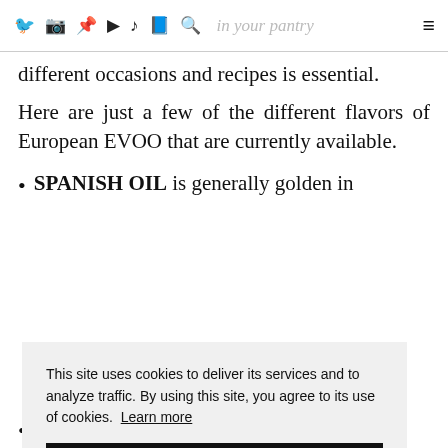social icons · in your pantry ≡
different occasions and recipes is essential.
Here are just a few of the different flavors of European EVOO that are currently available.
SPANISH OIL is generally golden in [cookie overlay] ...dark ...assy
This site uses cookies to deliver its services and to analyze traffic. By using this site, you agree to its use of cookies. Learn more
GREEK OLIVE OIL packs a robust